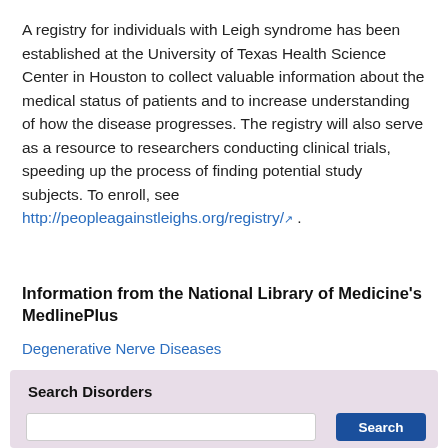A registry for individuals with Leigh syndrome has been established at the University of Texas Health Science Center in Houston to collect valuable information about the medical status of patients and to increase understanding of how the disease progresses. The registry will also serve as a resource to researchers conducting clinical trials, speeding up the process of finding potential study subjects. To enroll, see http://peopleagainstleighs.org/registry/ .
Information from the National Library of Medicine's MedlinePlus
Degenerative Nerve Diseases
Search Disorders